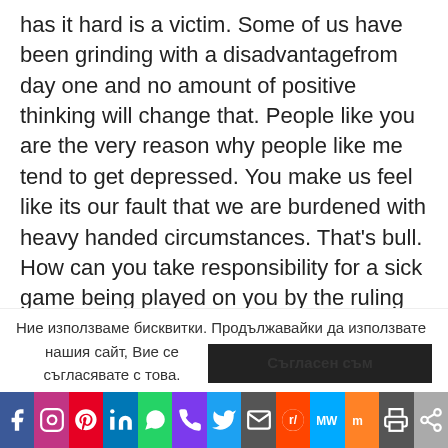has it hard is a victim. Some of us have been grinding with a disadvantagefrom day one and no amount of positive thinking will change that. People like you are the very reason why people like me tend to get depressed. You make us feel like its our fault that we are burdened with heavy handed circumstances. That's bull. How can you take responsibility for a sick game being played on you by the ruling elite. His can you take the blame for a bank crapping on you in a housing bubble and doing everything to make matters worse even down to deceiving you into putting yourself in a compromising situation. Perspective does matter
Ние използваме бисквитки. Продължавайки да използвате нашия сайт, Вие се съгласявате с това. Съгласен съм
[Figure (infographic): Social media sharing bar with icons: Facebook, Instagram, Pinterest, LinkedIn, WhatsApp, Phone, Twitter, Email, Reddit, MeWe, Mix, Print, Share]